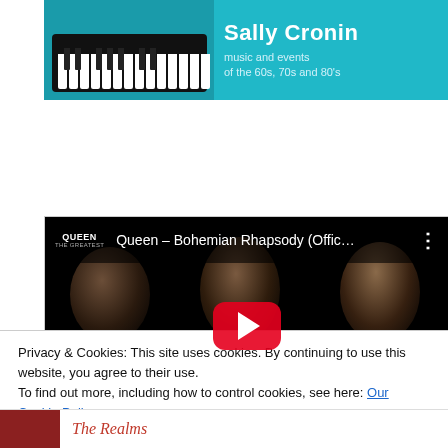[Figure (other): Banner advertisement for Sally Cronin - music and events of the 60s, 70s and 80s, featuring a keyboard image on a teal background]
[Figure (screenshot): YouTube video embed showing Queen – Bohemian Rhapsody (Offic...) with band photo thumbnail and red play button]
Privacy & Cookies: This site uses cookies. By continuing to use this website, you agree to their use.
To find out more, including how to control cookies, see here: Our Cookie Policy
Close and accept
[Figure (other): Bottom strip showing partial red thumbnail and italic red text reading 'The Realms']